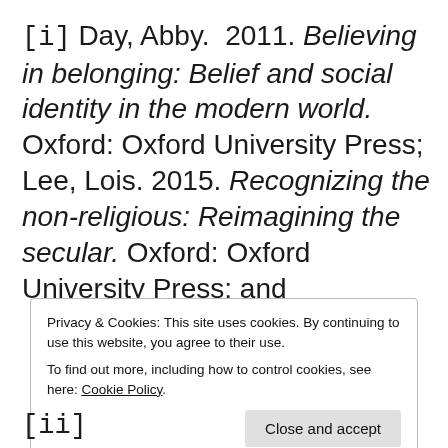[i] Day, Abby. 2011. Believing in belonging: Belief and social identity in the modern world. Oxford: Oxford University Press; Lee, Lois. 2015. Recognizing the non-religious: Reimagining the secular. Oxford: Oxford University Press; and
Privacy & Cookies: This site uses cookies. By continuing to use this website, you agree to their use. To find out more, including how to control cookies, see here: Cookie Policy
[ii]